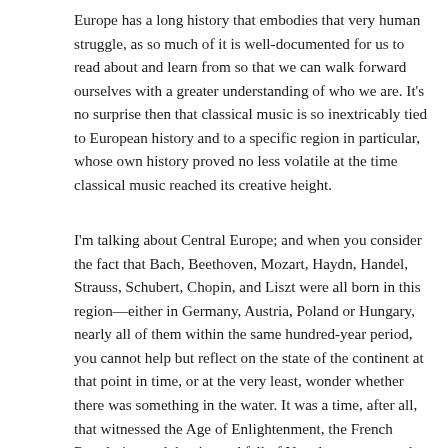Europe has a long history that embodies that very human struggle, as so much of it is well-documented for us to read about and learn from so that we can walk forward ourselves with a greater understanding of who we are. It's no surprise then that classical music is so inextricably tied to European history and to a specific region in particular, whose own history proved no less volatile at the time classical music reached its creative height.
I'm talking about Central Europe; and when you consider the fact that Bach, Beethoven, Mozart, Haydn, Handel, Strauss, Schubert, Chopin, and Liszt were all born in this region—either in Germany, Austria, Poland or Hungary, nearly all of them within the same hundred-year period, you cannot help but reflect on the state of the continent at that point in time, or at the very least, wonder whether there was something in the water. It was a time, after all, that witnessed the Age of Enlightenment, the French Revolution and the rise and fall of Napoleon, among other historical milestones.